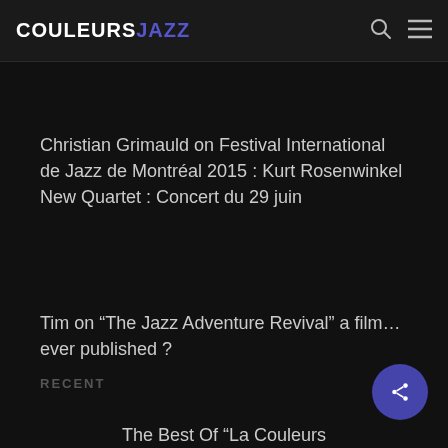COULEURSJAZZ
Christian Grimauld on Festival International de Jazz de Montréal 2015 : Kurt Rosenwinkel New Quartet : Concert du 29 juin
Tim on “The Jazz Adventure Revival” a film… ever published ?
RECENT
The Best Of “La Couleurs